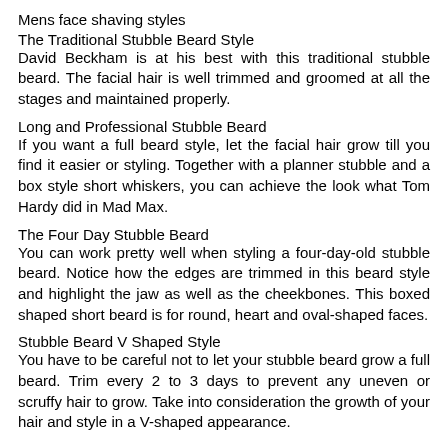Mens face shaving styles
The Traditional Stubble Beard Style
David Beckham is at his best with this traditional stubble beard. The facial hair is well trimmed and groomed at all the stages and maintained properly.
Long and Professional Stubble Beard
If you want a full beard style, let the facial hair grow till you find it easier or styling. Together with a planner stubble and a box style short whiskers, you can achieve the look what Tom Hardy did in Mad Max.
The Four Day Stubble Beard
You can work pretty well when styling a four-day-old stubble beard. Notice how the edges are trimmed in this beard style and highlight the jaw as well as the cheekbones. This boxed shaped short beard is for round, heart and oval-shaped faces.
Stubble Beard V Shaped Style
You have to be careful not to let your stubble beard grow a full beard. Trim every 2 to 3 days to prevent any uneven or scruffy hair to grow. Take into consideration the growth of your hair and style in a V-shaped appearance.